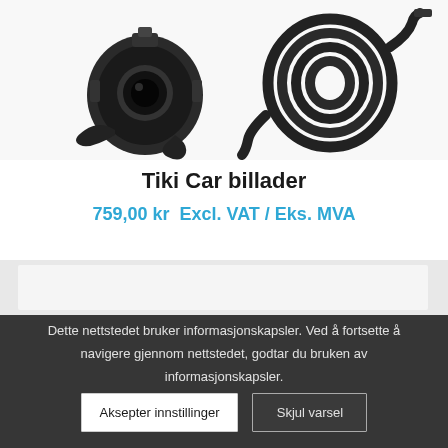[Figure (photo): Two product images: a black dashcam/charger device on the left and a coiled black cable on the right, shown against a white/light grey background]
Tiki Car billader
759,00 kr  Excl. VAT / Eks. MVA
Dette nettstedet bruker informasjonskapsler. Ved å fortsette å navigere gjennom nettstedet, godtar du bruken av informasjonskapsler.
Aksepter innstillinger
Skjul varsel